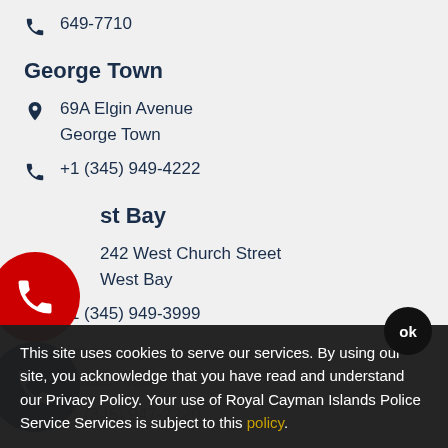649-7710
George Town
69A Elgin Avenue
George Town
+1 (345) 949-4222
West Bay
242 West Church Street
West Bay
+1 (345) 949-3999
This site uses cookies to serve our services. By using our site, you acknowledge that you have read and understand our Privacy Policy. Your use of Royal Cayman Islands Police Service Services is subject to this policy.
445B Bodden Town Road
Bodden Town
+1 (345) 947-2220